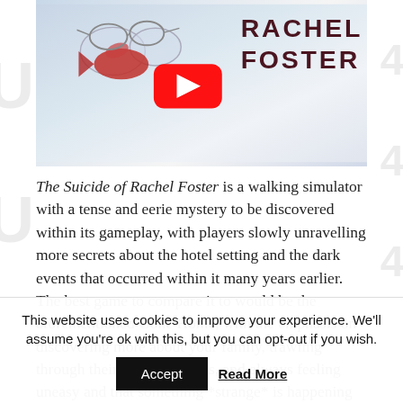[Figure (screenshot): Thumbnail for 'The Suicide of Rachel Foster' showing a light blue/white background with a red fish and glasses prop on the left, a YouTube play button in the center-left, and dark red 'RACHEL FOSTER' text on the right side of the thumbnail.]
The Suicide of Rachel Foster is a walking simulator with a tense and eerie mystery to be discovered within its gameplay, with players slowly unravelling more secrets about the hotel setting and the dark events that occurred within it many years earlier. The best game to compare it to would be the aforementioned Gone Home, with the emphasis on discovering more about your family, trawling through their old belongings, and always feeling uneasy and that something *strange* is happening helping strengthen
This website uses cookies to improve your experience. We'll assume you're ok with this, but you can opt-out if you wish.
Accept   Read More